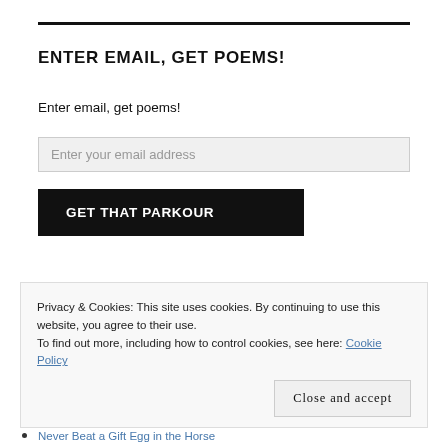ENTER EMAIL, GET POEMS!
Enter email, get poems!
Enter your email address
GET THAT PARKOUR
Privacy & Cookies: This site uses cookies. By continuing to use this website, you agree to their use.
To find out more, including how to control cookies, see here: Cookie Policy
Close and accept
Never Beat a Gift Egg in the Horse